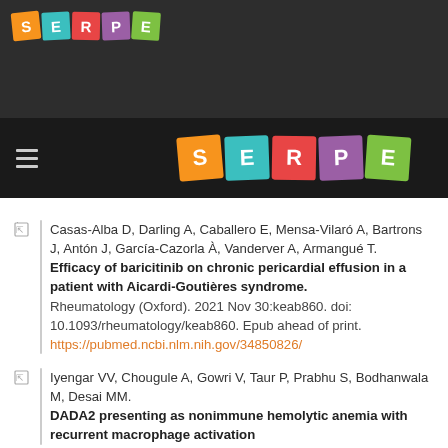[Figure (logo): SERPE logo small top-left on dark header bar]
[Figure (logo): SERPE logo large centered on dark navigation bar]
Casas-Alba D, Darling A, Caballero E, Mensa-Vilaró A, Bartrons J, Antón J, García-Cazorla À, Vanderver A, Armangué T. Efficacy of baricitinib on chronic pericardial effusion in a patient with Aicardi-Goutières syndrome. Rheumatology (Oxford). 2021 Nov 30:keab860. doi: 10.1093/rheumatology/keab860. Epub ahead of print. https://pubmed.ncbi.nlm.nih.gov/34850826/
Iyengar VV, Chougule A, Gowri V, Taur P, Prabhu S, Bodhanwala M, Desai MM. DADA2 presenting as nonimmune hemolytic anemia with recurrent macrophage activation